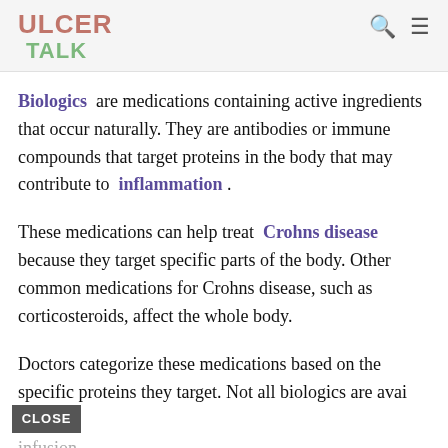ULCER TALK
Biologics are medications containing active ingredients that occur naturally. They are antibodies or immune compounds that target proteins in the body that may contribute to inflammation.
These medications can help treat Crohns disease because they target specific parts of the body. Other common medications for Crohns disease, such as corticosteroids, affect the whole body.
Doctors categorize these medications based on the specific proteins they target. Not all biologics are available by infusion.